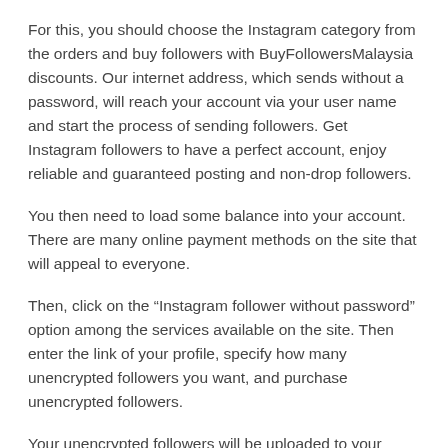For this, you should choose the Instagram category from the orders and buy followers with BuyFollowersMalaysia discounts. Our internet address, which sends without a password, will reach your account via your user name and start the process of sending followers. Get Instagram followers to have a perfect account, enjoy reliable and guaranteed posting and non-drop followers.
You then need to load some balance into your account. There are many online payment methods on the site that will appeal to everyone.
Then, click on the “Instagram follower without password” option among the services available on the site. Then enter the link of your profile, specify how many unencrypted followers you want, and purchase unencrypted followers.
Your unencrypted followers will be uploaded to your